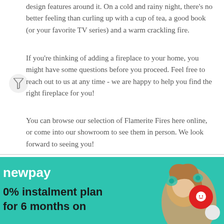design features around it. On a cold and rainy night, there's no better feeling than curling up with a cup of tea, a good book (or your favorite TV series) and a warm crackling fire.
If you're thinking of adding a fireplace to your home, you might have some questions before you proceed. Feel free to reach out to us at any time - we are happy to help you find the right fireplace for you!
You can browse our selection of Flamerite Fires here online, or come into our showroom to see them in person. We look forward to seeing you!
[Figure (infographic): newpay advertisement banner on teal/green background showing '0% instalment plan for 6 months on' with a woman with curly hair wearing festive accessories, and a red chat bubble icon]
newpay
0% instalment plan for 6 months on